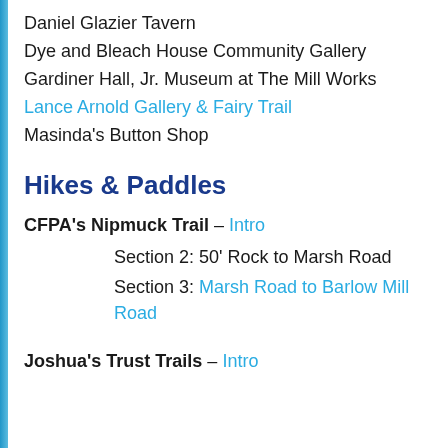Daniel Glazier Tavern
Dye and Bleach House Community Gallery
Gardiner Hall, Jr. Museum at The Mill Works
Lance Arnold Gallery & Fairy Trail
Masinda's Button Shop
Hikes & Paddles
CFPA's Nipmuck Trail – Intro
Section 2: 50' Rock to Marsh Road
Section 3: Marsh Road to Barlow Mill Road
Joshua's Trust Trails – Intro